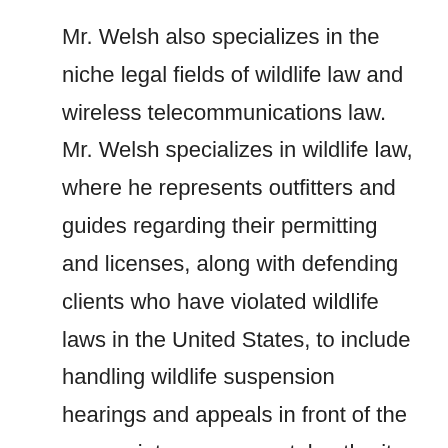Mr. Welsh also specializes in the niche legal fields of wildlife law and wireless telecommunications law. Mr. Welsh specializes in wildlife law, where he represents outfitters and guides regarding their permitting and licenses, along with defending clients who have violated wildlife laws in the United States, to include handling wildlife suspension hearings and appeals in front of the appropriate governmental authority. Additionally, Mr. Welsh represents clients regarding the leasing, acquisitions and dispositions of wireless telecommunications properties, including rooftop and land leases for wireless towers and antennas sites. He has represented numerous building and property owners, throughout the country, regarding